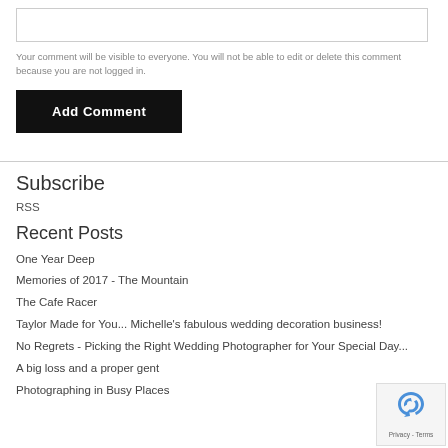[comment input box]
Your comment will be visible to everyone. You will not be able to edit or delete this comment because you are not logged in.
Add Comment
Subscribe
RSS
Recent Posts
One Year Deep
Memories of 2017 - The Mountain
The Cafe Racer
Taylor Made for You... Michelle's fabulous wedding decoration business!
No Regrets - Picking the Right Wedding Photographer for Your Special Day...
A big loss and a proper gent
Photographing in Busy Places